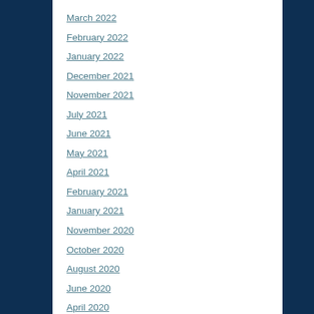March 2022
February 2022
January 2022
December 2021
November 2021
July 2021
June 2021
May 2021
April 2021
February 2021
January 2021
November 2020
October 2020
August 2020
June 2020
April 2020